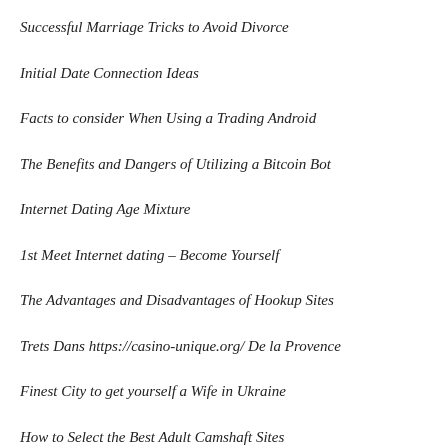Successful Marriage Tricks to Avoid Divorce
Initial Date Connection Ideas
Facts to consider When Using a Trading Android
The Benefits and Dangers of Utilizing a Bitcoin Bot
Internet Dating Age Mixture
1st Meet Internet dating – Become Yourself
The Advantages and Disadvantages of Hookup Sites
Trets Dans https://casino-unique.org/ De la Provence
Finest City to get yourself a Wife in Ukraine
How to Select the Best Adult Camshaft Sites
Just how Men Could get Dateing Help